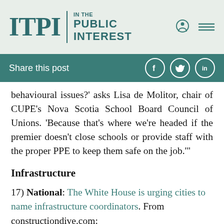ITPI IN THE PUBLIC INTEREST
Share this post
behavioural issues?' asks Lisa de Molitor, chair of CUPE's Nova Scotia School Board Council of Unions. 'Because that's where we're headed if the premier doesn't close schools or provide staff with the proper PPE to keep them safe on the job.'"
Infrastructure
17) National: The White House is urging cities to name infrastructure coordinators. From constructiondive.com: